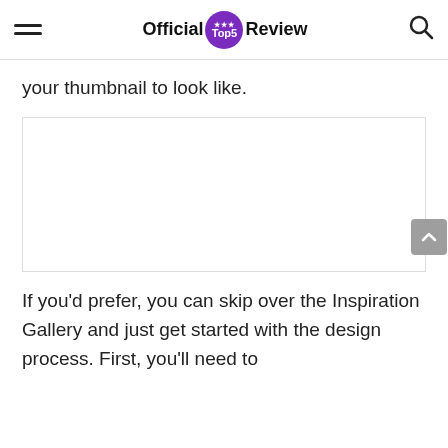Official Top5 Review
your thumbnail to look like.
[Figure (other): White rectangular image placeholder with border]
If you'd prefer, you can skip over the Inspiration Gallery and just get started with the design process. First, you'll need to